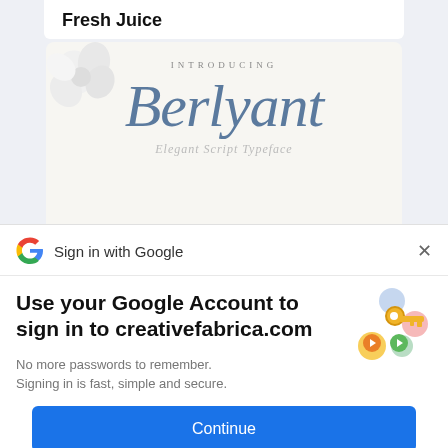Fresh Juice
[Figure (illustration): Font preview card showing decorative script font named 'Berlyant' with text 'INTRODUCING' in small caps above and 'Elegant Script Typeface' below, with white flowers in top-left corner, on a cream background]
[Figure (screenshot): Google Sign-in modal dialog with Google G logo, 'Sign in with Google' header with X close button, headline 'Use your Google Account to sign in to creativefabrica.com', subtext 'No more passwords to remember. Signing in is fast, simple and secure.', keys illustration, and blue Continue button]